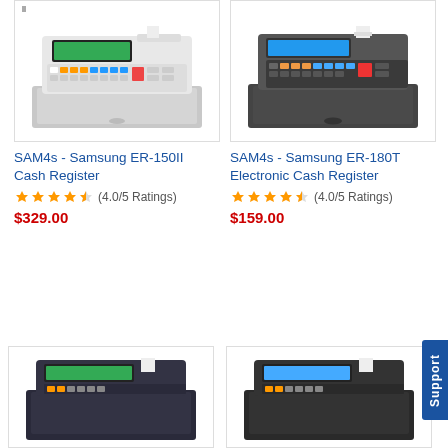[Figure (photo): SAM4s Samsung ER-150II Cash Register - white/grey cash register with keypad and receipt printer]
SAM4s - Samsung ER-150II Cash Register
★★★★☆ (4.0/5 Ratings)
$329.00
[Figure (photo): SAM4s Samsung ER-180T Electronic Cash Register - dark grey cash register with keypad and receipt printer]
SAM4s - Samsung ER-180T Electronic Cash Register
★★★★☆ (4.0/5 Ratings)
$159.00
[Figure (photo): SAM4s cash register - dark blue/black cash register with receipt printer, partially visible at bottom]
[Figure (photo): SAM4s cash register - dark cash register with receipt printer, partially visible at bottom]